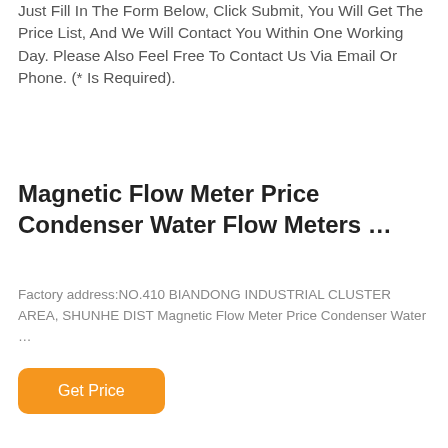Just Fill In The Form Below, Click Submit, You Will Get The Price List, And We Will Contact You Within One Working Day. Please Also Feel Free To Contact Us Via Email Or Phone. (* Is Required).
Magnetic Flow Meter Price Condenser Water Flow Meters …
Factory address:NO.410 BIANDONG INDUSTRIAL CLUSTER AREA, SHUNHE DIST Magnetic Flow Meter Price Condenser Water …
Get Price